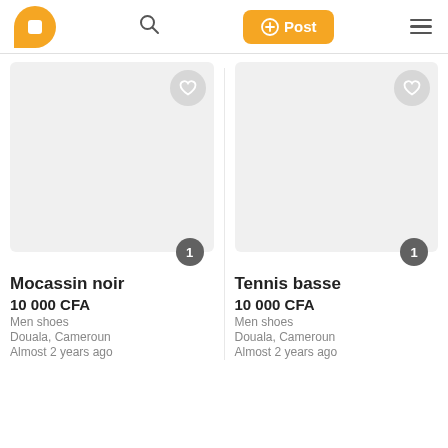[Figure (screenshot): App header with logo, search icon, Post button, and hamburger menu]
[Figure (photo): Product listing image placeholder for Mocassin noir with heart button and count badge showing 1]
Mocassin noir
10 000 CFA
Men shoes
Douala, Cameroun
Almost 2 years ago
[Figure (photo): Product listing image placeholder for Tennis basse with heart button and count badge showing 1]
Tennis basse
10 000 CFA
Men shoes
Douala, Cameroun
Almost 2 years ago